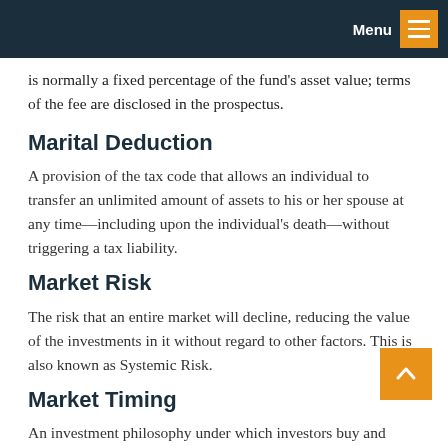Menu
is normally a fixed percentage of the fund’s asset value; terms of the fee are disclosed in the prospectus.
Marital Deduction
A provision of the tax code that allows an individual to transfer an unlimited amount of assets to his or her spouse at any time—including upon the individual’s death—without triggering a tax liability.
Market Risk
The risk that an entire market will decline, reducing the value of the investments in it without regard to other factors. This is also known as Systemic Risk.
Market Timing
An investment philosophy under which investors buy and